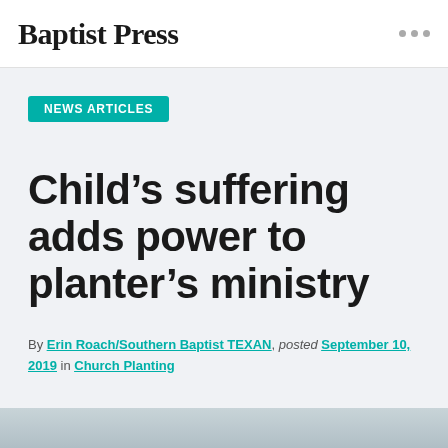Baptist Press
NEWS ARTICLES
Child’s suffering adds power to planter’s ministry
By Erin Roach/Southern Baptist TEXAN, posted September 10, 2019 in Church Planting